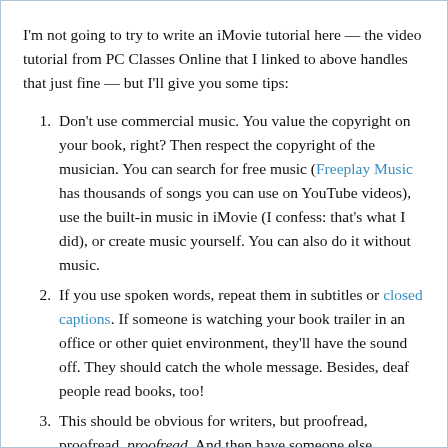I'm not going to try to write an iMovie tutorial here — the video tutorial from PC Classes Online that I linked to above handles that just fine — but I'll give you some tips:
Don't use commercial music. You value the copyright on your book, right? Then respect the copyright of the musician. You can search for free music (Freeplay Music has thousands of songs you can use on YouTube videos), use the built-in music in iMovie (I confess: that's what I did), or create music yourself. You can also do it without music.
If you use spoken words, repeat them in subtitles or closed captions. If someone is watching your book trailer in an office or other quiet environment, they'll have the sound off. They should catch the whole message. Besides, deaf people read books, too!
This should be obvious for writers, but proofread, proofread, proofread. And then have someone else